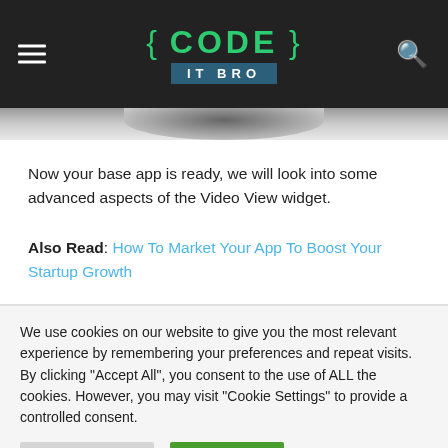{ CODE } IT BRO
Now your base app is ready, we will look into some advanced aspects of the Video View widget.
Also Read: How To Market Your App To Boost Your Startup Growth
We use cookies on our website to give you the most relevant experience by remembering your preferences and repeat visits. By clicking "Accept All", you consent to the use of ALL the cookies. However, you may visit "Cookie Settings" to provide a controlled consent.